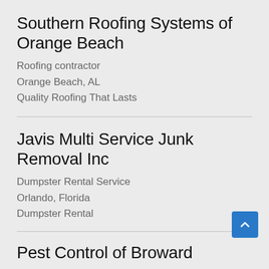Southern Roofing Systems of Orange Beach
Roofing contractor
Orange Beach, AL
Quality Roofing That Lasts
Javis Multi Service Junk Removal Inc
Dumpster Rental Service
Orlando, Florida
Dumpster Rental
Pest Control of Broward